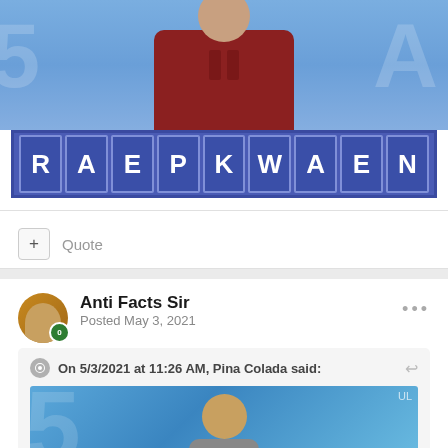[Figure (screenshot): TV show screenshot showing a person in a red shirt behind a desk, with a letter board below showing the letters R A E P K W A E N on blue tiles]
+ Quote
Anti Facts Sir
Posted May 3, 2021
On 5/3/2021 at 11:26 AM, Pina Colada said:
[Figure (screenshot): Quoted image showing a person with red/auburn hair against a blue background, partially visible]